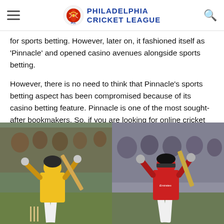Philadelphia Cricket League
for sports betting. However, later on, it fashioned itself as 'Pinnacle' and opened casino avenues alongside sports betting.
However, there is no need to think that Pinnacle's sports betting aspect has been compromised because of its casino betting feature. Pinnacle is one of the most sought-after bookmakers. So, if you are looking for online cricket betting, then Pinnacle cricket is perhaps the best option for you. If you want to know more about Pinnacle cricket, then keep reading this article till the end.
[Figure (photo): Two cricket players batting: left shows a player in yellow CSK jersey hitting a shot with crowd in background; right shows a player in red jersey with Emirates sponsor in batting stance]